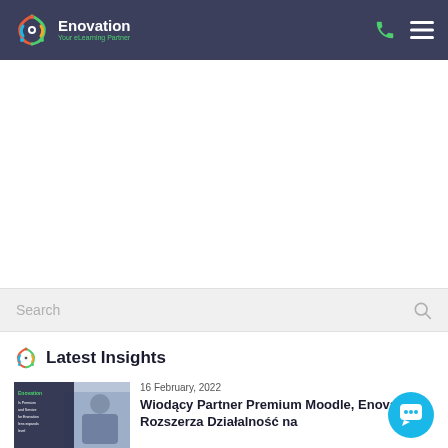Enovation — Your eLearning Partner
[Figure (logo): Enovation logo: colorful hexagon icon with white text 'Enovation' and green tagline 'Your eLearning Partner' on dark navy background. Phone and menu icons on the right.]
Search
Latest Insights
16 February, 2022
[Figure (photo): Thumbnail image showing a person at a desk, with an Enovation document overlay reading 'Enovation is Premium and Service for Enovation lens expands level']
Wiodący Partner Premium Moodle, Enovation Rozszerza Działalność na